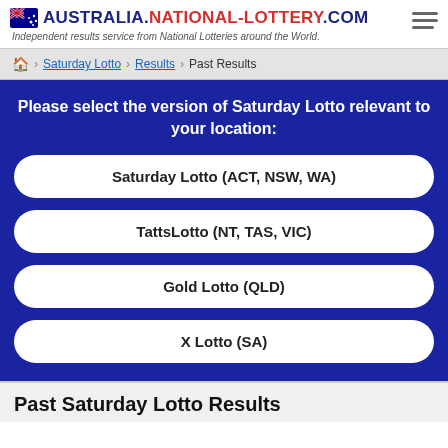AUSTRALIA.NATIONAL-LOTTERY.COM — Independent results service from National Lotteries around the World.
Home > Saturday Lotto > Results > Past Results
Please select the version of Saturday Lotto relevant to your location:
Saturday Lotto (ACT, NSW, WA)
TattsLotto (NT, TAS, VIC)
Gold Lotto (QLD)
X Lotto (SA)
Past Saturday Lotto Results